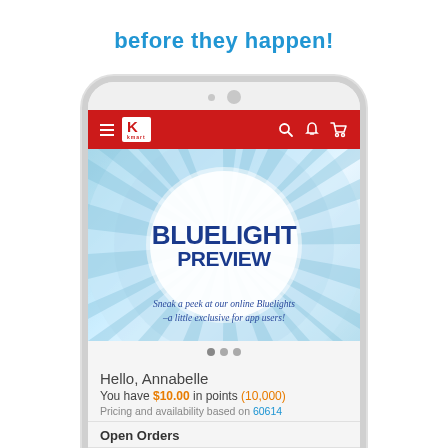before they happen!
[Figure (screenshot): Kmart mobile app screenshot showing Bluelight Preview banner with 'BLUELIGHT PREVIEW' text and tagline 'Sneak a peek at our online Bluelights –a little exclusive for app users!', followed by greeting 'Hello, Annabelle', points '$10.00 in points (10,000)', pricing note for zip 60614, Open Orders section with Estimated arrival Wednesday, September 23rd.]